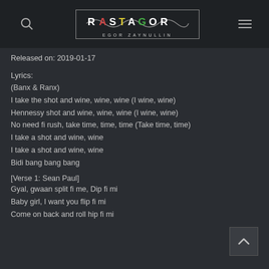RASTAGOR – EGOR ZAYNULLIN
Released on: 2019-01-17
Lyrics:
(Banx & Ranx)
I take the shot and wine, wine, wine (I wine, wine)
Hennessy shot and wine, wine, wine (I wine, wine)
No need fi rush, take time, time, time (Take time, time)
I take a shot and wine, wine
I take a shot and wine, wine
Bidi bang bang bang
[Verse 1: Sean Paul]
Gyal, gwaan split fi me, Dip fi mi
Baby girl, I want you flip fi mi
Come on back and roll hip fi mi